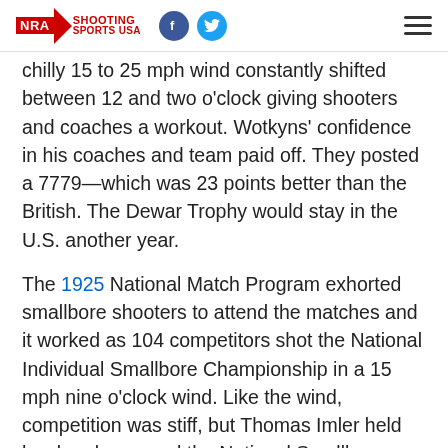NRA Shooting Sports USA
chilly 15 to 25 mph wind constantly shifted between 12 and two o'clock giving shooters and coaches a workout. Wotkyns' confidence in his coaches and team paid off. They posted a 7779—which was 23 points better than the British. The Dewar Trophy would stay in the U.S. another year.
The 1925 National Match Program exhorted smallbore shooters to attend the matches and it worked as 104 competitors shot the National Individual Smallbore Championship in a 15 mph nine o'clock wind. Like the wind, competition was stiff, but Thomas Imler held hard and emerged the National Smallbore Champion.